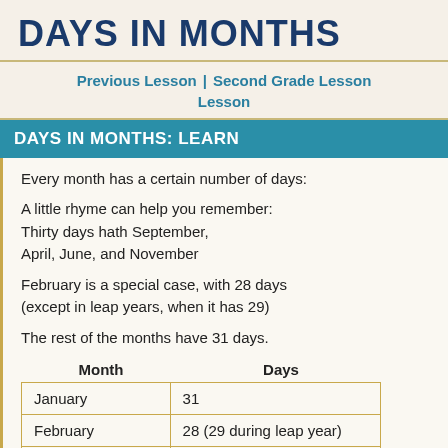DAYS IN MONTHS
Previous Lesson | Second Grade Lesson Lesson
DAYS IN MONTHS: LEARN
Every month has a certain number of days:
A little rhyme can help you remember:
Thirty days hath September,
April, June, and November
February is a special case, with 28 days (except in leap years, when it has 29)
The rest of the months have 31 days.
| Month | Days |
| --- | --- |
| January | 31 |
| February | 28 (29 during leap year) |
| March | 31 |